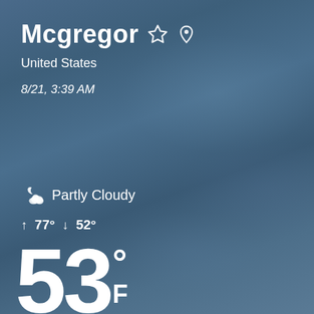Mcgregor
United States
8/21, 3:39 AM
Partly Cloudy
↑ 77° ↓ 52°
53° F